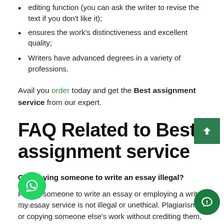editing function (you can ask the writer to revise the text if you don't like it);
ensures the work's distinctiveness and excellent quality;
Writers have advanced degrees in a variety of professions.
Avail you order today and get the Best assignment service from our expert.
FAQ Related to Best assignment service
Q.Is paying someone to write an essay illegal?
Paying someone to write an essay or employing a write my essay service is not illegal or unethical. Plagiarism, or copying someone else's work without crediting them, is a serious felony.